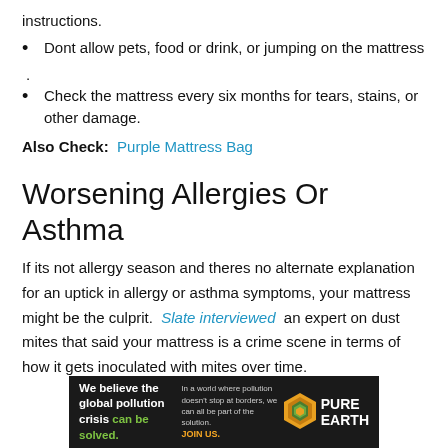instructions.
Dont allow pets, food or drink, or jumping on the mattress
.
Check the mattress every six months for tears, stains, or other damage.
Also Check:  Purple Mattress Bag
Worsening Allergies Or Asthma
If its not allergy season and theres no alternate explanation for an uptick in allergy or asthma symptoms, your mattress might be the culprit.  Slate interviewed  an expert on dust mites that said your mattress is a crime scene in terms of how it gets inoculated with mites over time.
[Figure (infographic): Pure Earth advertisement banner: black background with text 'We believe the global pollution crisis can be solved.' in white and green, alongside text about pollution not stopping at borders and 'JOIN US.' in orange, and the Pure Earth logo with a diamond/earth icon.]